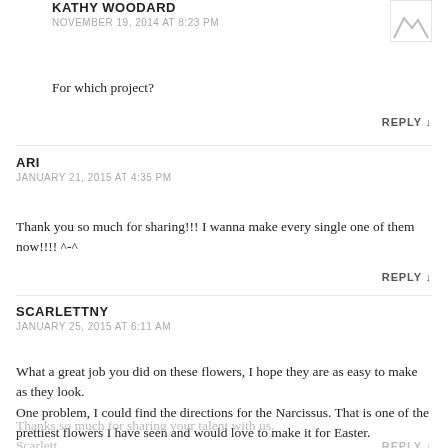KATHY WOODARD
NOVEMBER 19, 2014 AT 8:23 PM
For which project?
REPLY ↓
ARI
JANUARY 21, 2015 AT 4:35 PM
Thank you so much for sharing!!! I wanna make every single one of them now!!!! ^-^
REPLY ↓
SCARLETTNY
JANUARY 25, 2015 AT 6:11 AM
What a great job you did on these flowers, I hope they are as easy to make as they look.
One problem, I could find the directions for the Narcissus. That is one of the prettiest flowers I have seen and would love to make it for Easter.
Thanks so much for sharing your talent with us.
Scarlett
REPLY ↓